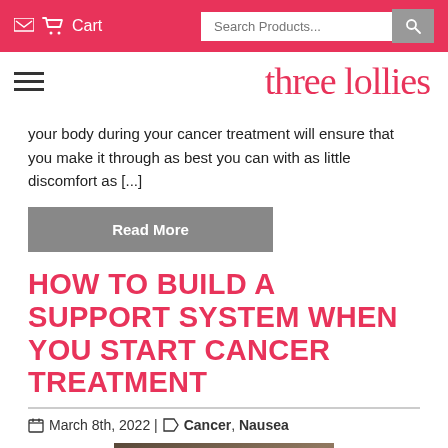Cart | Search Products...
three lollies
your body during your cancer treatment will ensure that you make it through as best you can with as little discomfort as [...]
Read More
HOW TO BUILD A SUPPORT SYSTEM WHEN YOU START CANCER TREATMENT
March 8th, 2022 | Cancer, Nausea
[Figure (photo): Photo of two people, one wearing a knit hat (cancer patient), the other person placing a hand on their shoulder in support]